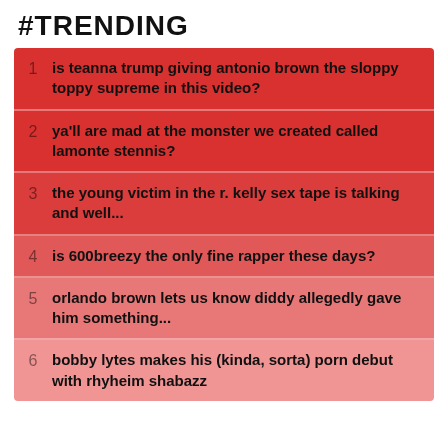#TRENDING
is teanna trump giving antonio brown the sloppy toppy supreme in this video?
ya'll are mad at the monster we created called lamonte stennis?
the young victim in the r. kelly sex tape is talking and well...
is 600breezy the only fine rapper these days?
orlando brown lets us know diddy allegedly gave him something...
bobby lytes makes his (kinda, sorta) porn debut with rhyheim shabazz